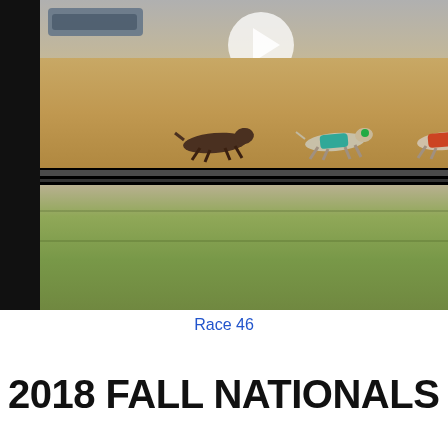[Figure (photo): A greyhound dog race in progress on a sandy/dirt track. Three greyhounds wearing racing jackets are running mid-race. A car is visible in the upper left background. A semi-transparent play button overlay is visible in the upper center, indicating this is a video thumbnail. The infield grass is visible in the lower portion.]
Race 46
2018 FALL NATIONALS MOND